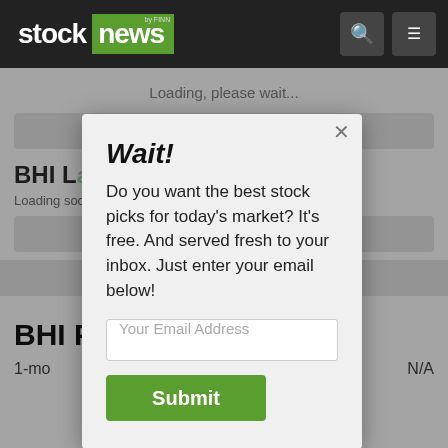[Figure (screenshot): Stock News by FINN website header with logo (dark background, 'stock' in white, 'news' in green), search icon and hamburger menu icon on right]
Loading, please wait...
View All BHI News
BHI Latest Social Stream
Loading social stream, please wait...
View Full BHI Social Stream
Read More 'BHI' Stories Here
Wait!
Do you want the best stock picks for today's market? It's free. And served fresh to your inbox. Just enter your email below!
Your Email Address
Submit
BHI Price Returns
1-mo
N/A